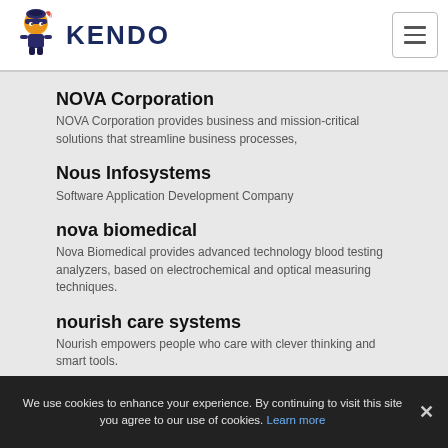KENDO
NOVA Corporation
NOVA Corporation provides business and mission-critical solutions that streamline business processes,
Nous Infosystems
Software Application Development Company
nova biomedical
Nova Biomedical provides advanced technology blood testing analyzers, based on electrochemical and optical measuring techniques.
nourish care systems
Nourish empowers people who care with clever thinking and smart tools.
We use cookies to enhance your experience. By continuing to visit this site you agree to our use of cookies. Learn more